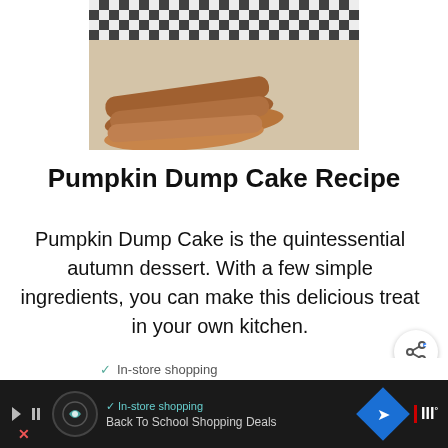[Figure (photo): Partial image of cinnamon sticks on a table with a black and white checkered background visible at top]
Pumpkin Dump Cake Recipe
Pumpkin Dump Cake is the quintessential autumn dessert. With a few simple ingredients, you can make this delicious treat in your own kitchen.
READ MORE
WHAT'S NEXT → Air Fryer Fried Chicken KF...
✓ In-store shopping
Back To School Shopping Deals